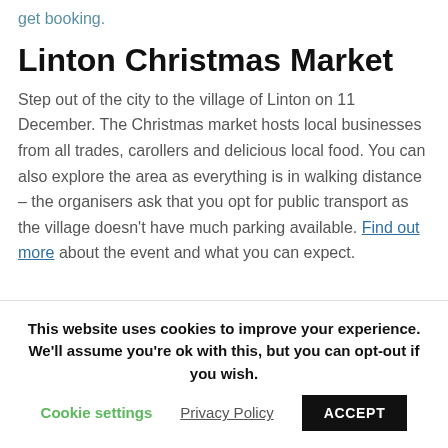get booking.
Linton Christmas Market
Step out of the city to the village of Linton on 11 December. The Christmas market hosts local businesses from all trades, carollers and delicious local food. You can also explore the area as everything is in walking distance – the organisers ask that you opt for public transport as the village doesn't have much parking available. Find out more about the event and what you can expect.
This website uses cookies to improve your experience. We'll assume you're ok with this, but you can opt-out if you wish.
Cookie settings
Privacy Policy
ACCEPT